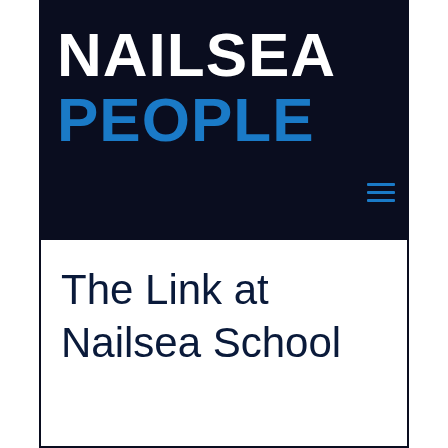NAILSEA PEOPLE
The Link at Nailsea School